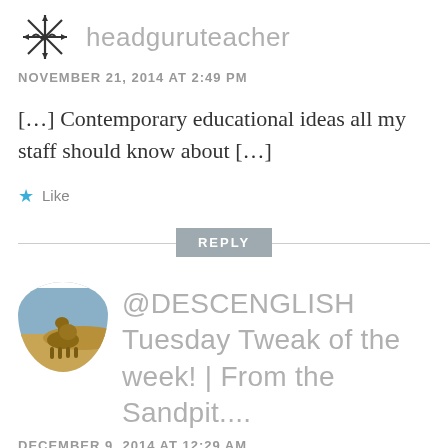[Figure (logo): Decorative arrow/star icon avatar for headguruteacher]
headguruteacher
NOVEMBER 21, 2014 AT 2:49 PM
[…] Contemporary educational ideas all my staff should know about […]
Like
REPLY
[Figure (photo): Circular avatar photo showing a camel in a desert landscape]
@DESCENGLISH Tuesday Tweak of the week! | From the Sandpit....
DECEMBER 9, 2014 AT 12:29 AM